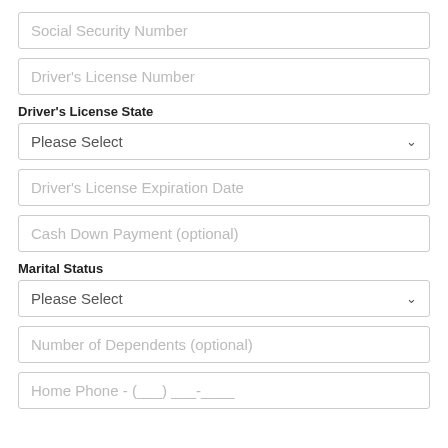Social Security Number
Driver's License Number
Driver's License State
Please Select
Driver's License Expiration Date
Cash Down Payment (optional)
Marital Status
Please Select
Number of Dependents (optional)
Home Phone - (___) ___-____